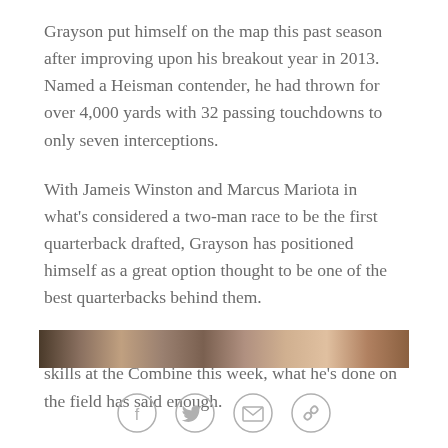Grayson put himself on the map this past season after improving upon his breakout year in 2013. Named a Heisman contender, he had thrown for over 4,000 yards with 32 passing touchdowns to only seven interceptions.
With Jameis Winston and Marcus Mariota in what's considered a two-man race to be the first quarterback drafted, Grayson has positioned himself as a great option thought to be one of the best quarterbacks behind them.
And even though his injury won't let him show his skills at the Combine this week, what he's done on the field has said enough.
[Figure (photo): Partial photo strip visible at bottom of article, appears to be a sports/football related image]